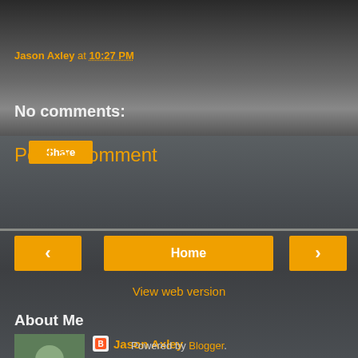Jason Axley at 10:27 PM
Share
No comments:
Post a Comment
< Home >
View web version
About Me
Jason Axley
View my complete profile
Powered by Blogger.